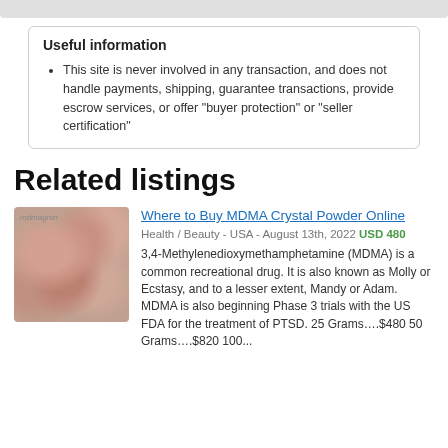Useful information
This site is never involved in any transaction, and does not handle payments, shipping, guarantee transactions, provide escrow services, or offer "buyer protection" or "seller certification"
Related listings
[Figure (photo): Photo of pink/rose-colored MDMA crystal powder pieces in a pile]
Where to Buy MDMA Crystal Powder Online
Health / Beauty - USA - August 13th, 2022 USD 480
3,4-Methylenedioxymethamphetamine (MDMA) is a common recreational drug. It is also known as Molly or Ecstasy, and to a lesser extent, Mandy or Adam. MDMA is also beginning Phase 3 trials with the US FDA for the treatment of PTSD. 25 Grams….$480 50 Grams….$820 100...